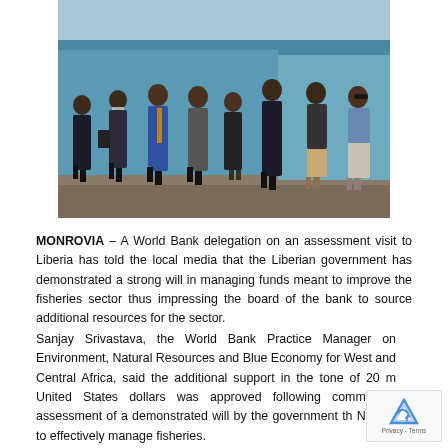[Figure (photo): Group photo of approximately 7-8 men in formal attire (suits and business casual) standing in front of a blue building or structure, taken outdoors.]
MONROVIA – A World Bank delegation on an assessment visit to Liberia has told the local media that the Liberian government has demonstrated a strong will in managing funds meant to improve the fisheries sector thus impressing the board of the bank to source additional resources for the sector.
Sanjay Srivastava, the World Bank Practice Manager on Environment, Natural Resources and Blue Economy for West and Central Africa, said the additional support in the tone of 20 m United States dollars was approved following commitmen assessment of a demonstrated will by the government th NaFAA to effectively manage fisheries.